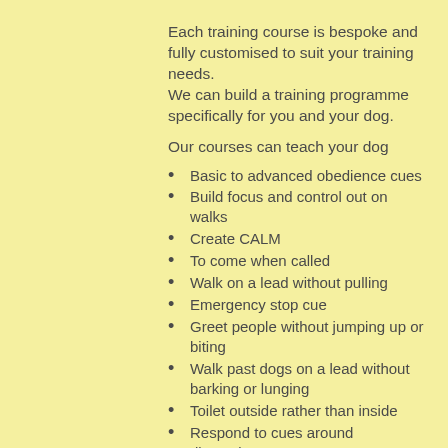Each training course is bespoke and fully customised to suit your training needs.
We can build a training programme specifically for you and your dog.
Our courses can teach your dog
Basic to advanced obedience cues
Build focus and control out on walks
Create CALM
To come when called
Walk on a lead without pulling
Emergency stop cue
Greet people without jumping up or biting
Walk past dogs on a lead without barking or lunging
Toilet outside rather than inside
Respond to cues around distractions
Settle in the home environment